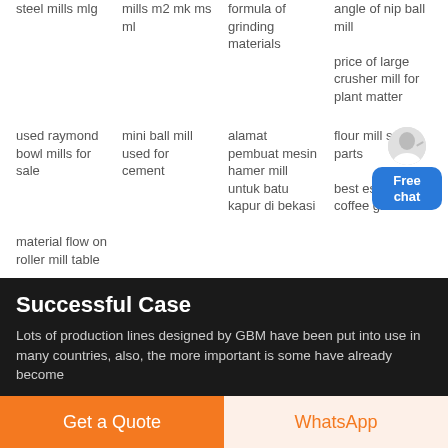steel mills mlg
mills m2 mk ms ml
formula of grinding materials
angle of nip ball mill
price of large crusher mill for plant matter
used raymond bowl mills for sale
mini ball mill used for cement
alamat pembuat mesin hamer mill untuk batu kapur di bekasi
flour mill spare parts
best espresso coffee grinders
material flow on roller mill table
Successful Case
Lots of production lines designed by GBM have been put into use in many countries, also, the more important is some have already become